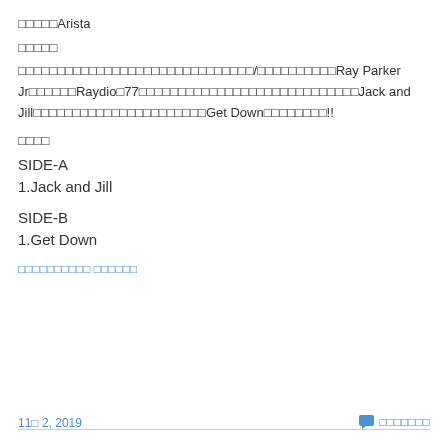□□□□□Arista
□□□□□
□□□□□□□□□□□□□□□□□□□□□□□□□□□□□□/□□□□□□□□□□Ray Parker Jr□□□□□□Raydio□77□□□□□□□□□□□□□□□□□□□□□□□□□□□□Jack and Jill□□□□□□□□□□□□□□□□□□□□□□Get Down□□□□□□□□!!
□□□□
SIDE-A
1.Jack and Jill
SIDE-B
1.Get Down
□□□□□□□□□□ □□□□□□
11□ 2, 2019　□□□□□□□